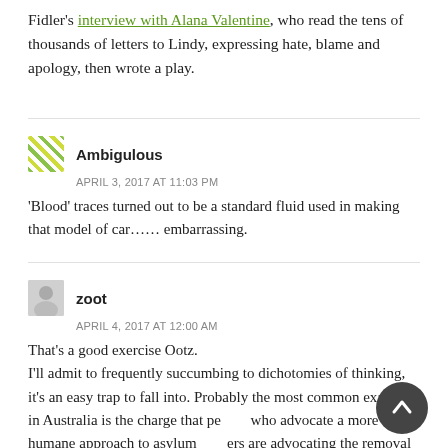Fidler's interview with Alana Valentine, who read the tens of thousands of letters to Lindy, expressing hate, blame and apology, then wrote a play.
Ambigulous
APRIL 3, 2017 AT 11:03 PM
'Blood' traces turned out to be a standard fluid used in making that model of car...... embarrassing.
zoot
APRIL 4, 2017 AT 12:00 AM
That's a good exercise Ootz.
I'll admit to frequently succumbing to dichotomies of thinking, it's an easy trap to fall into. Probably the most common example in Australia is the charge that people who advocate a more humane approach to asylum seekers are advocating the removal of all restrictions on